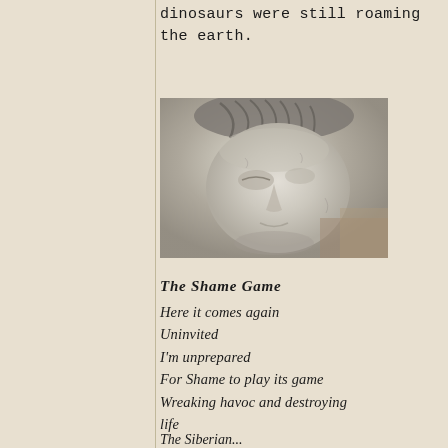dinosaurs were still roaming the earth.
[Figure (photo): Close-up photograph of a stone or marble sculpture depicting a downward-gazing female face with detailed carved hair, weathered stone texture.]
The Shame Game
Here it comes again
Uninvited
I'm unprepared
For Shame to play its game
Wreaking havoc and destroying life
The Siberian...